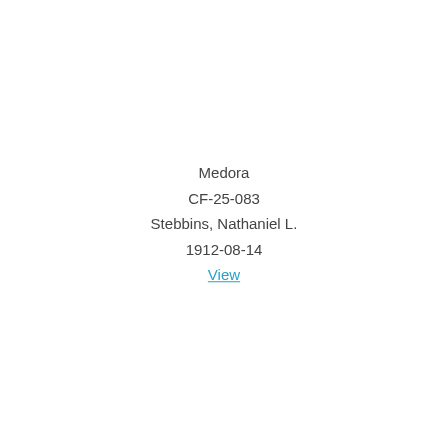Medora
CF-25-083
Stebbins, Nathaniel L.
1912-08-14
View